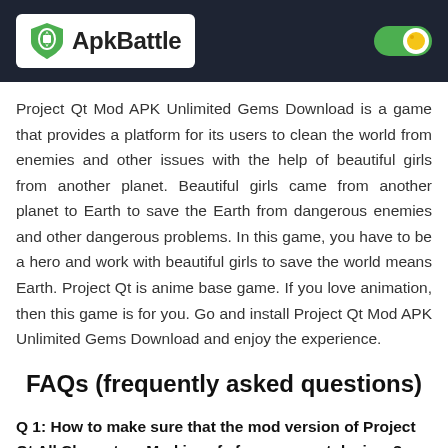ApkBattle
Project Qt Mod APK Unlimited Gems Download is a game that provides a platform for its users to clean the world from enemies and other issues with the help of beautiful girls from another planet. Beautiful girls came from another planet to Earth to save the Earth from dangerous enemies and other dangerous problems. In this game, you have to be a hero and work with beautiful girls to save the world means Earth. Project Qt is anime base game. If you love animation, then this game is for you. Go and install Project Qt Mod APK Unlimited Gems Download and enjoy the experience.
FAQs (frequently asked questions)
Q 1: How to make sure that the mod version of Project Qt All Characters Mod is safe for our smart devices?